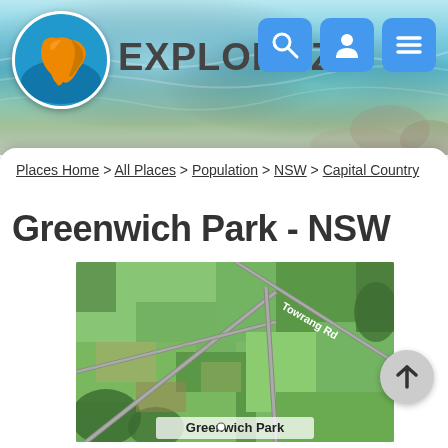EXPLOROZ
Places Home > All Places > Population > NSW > Capital Country
Greenwich Park - NSW
[Figure (map): Aerial satellite map view of Greenwich Park, NSW, Australia. Shows green fields with roads including Towrang Rd visible as a label. Location label 'Greenwich Park' shown at bottom of the image.]